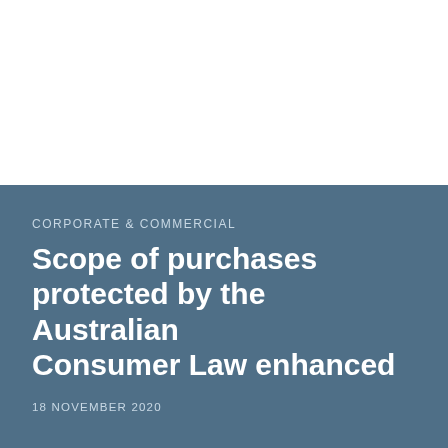CORPORATE & COMMERCIAL
Scope of purchases protected by the Australian Consumer Law enhanced
18 NOVEMBER 2020